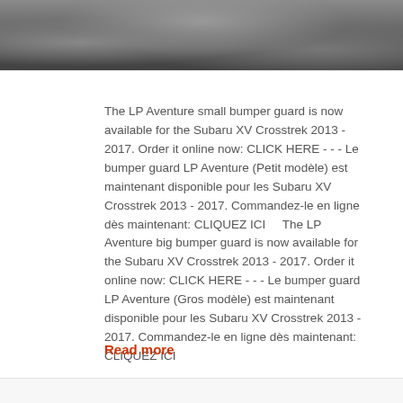[Figure (photo): Dark gray textured surface photo strip at top of page]
The LP Aventure small bumper guard is now available for the Subaru XV Crosstrek 2013 - 2017. Order it online now: CLICK HERE - - - Le bumper guard LP Aventure (Petit modèle) est maintenant disponible pour les Subaru XV Crosstrek 2013 - 2017. Commandez-le en ligne dès maintenant: CLIQUEZ ICI    The LP Aventure big bumper guard is now available for the Subaru XV Crosstrek 2013 - 2017. Order it online now: CLICK HERE - - - Le bumper guard LP Aventure (Gros modèle) est maintenant disponible pour les Subaru XV Crosstrek 2013 - 2017. Commandez-le en ligne dès maintenant: CLIQUEZ ICI
Read more